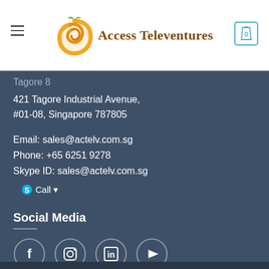Access Televentures
Tagore 8
421 Tagore Industrial Avenue,
#01-08, Singapore 787805
Email: sales@actelv.com.sg
Phone: +65 6251 9278
Skype ID: sales@actelv.com.sg
Call
Social Media
[Figure (illustration): Social media icons: Facebook, Instagram, LinkedIn, YouTube in circles]